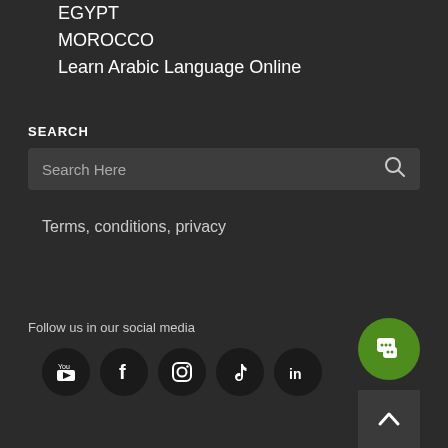EGYPT
MOROCCO
Learn Arabic Language Online
SEARCH
Search Here
Terms, conditions, privacy
Follow us in our social media
[Figure (other): Social media icons: YouTube, Facebook, Instagram, TikTok, LinkedIn]
[Figure (other): Green chat button and scroll-to-top button]